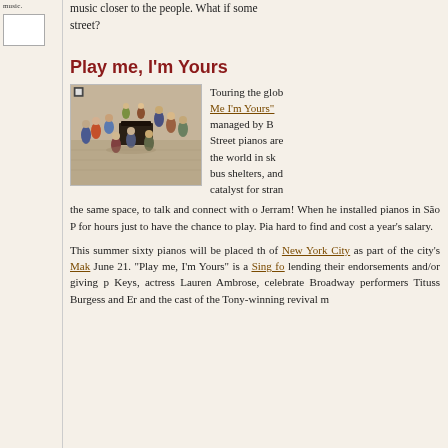music closer to the people. What if some street?
Play me, I'm Yours
[Figure (photo): Aerial view of a crowd of people gathered around a street piano in an outdoor public space.]
Touring the glob Me I'm Yours managed by B Street pianos are the world in sk bus shelters, and catalyst for stran the same space, to talk and connect with o Jerram! When he installed pianos in São P for hours just to have the chance to play. Pia hard to find and cost a year's salary.
This summer sixty pianos will be placed th of New York City as part of the city's Mak June 21. "Play me, I'm Yours" is a Sing fo lending their endorsements and/or giving p Keys, actress Lauren Ambrose, celebrate Broadway performers Tituss Burgess and Er and the cast of the Tony-winning revival m